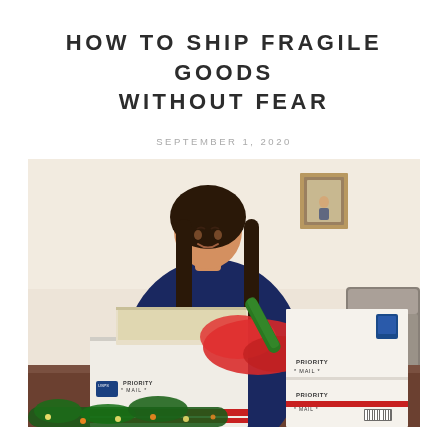HOW TO SHIP FRAGILE GOODS WITHOUT FEAR
SEPTEMBER 1, 2020
[Figure (photo): A smiling young woman with long dark hair, wearing a dark navy sweater, packing or unpacking USPS Priority Mail boxes on a wooden table. Multiple Priority Mail boxes are visible. Red tissue paper and a green roll are also on the table. Christmas greenery with lights is visible at the bottom of the frame. A framed picture hangs on the wall in the background.]